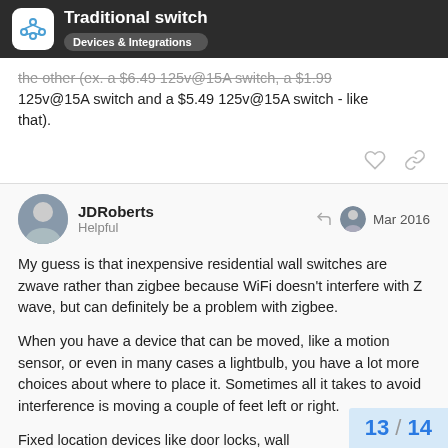Traditional switch | Devices & Integrations
the other (ex. a $6.49 125v@15A switch, a $1.99 125v@15A switch and a $5.49 125v@15A switch - like that).
JDRoberts
Helpful
Mar 2016
My guess is that inexpensive residential wall switches are zwave rather than zigbee because WiFi doesn't interfere with Z wave, but can definitely be a problem with zigbee.
When you have a device that can be moved, like a motion sensor, or even in many cases a lightbulb, you have a lot more choices about where to place it. Sometimes all it takes to avoid interference is moving a couple of feet left or right.
Fixed location devices like door locks, wall
13 / 14